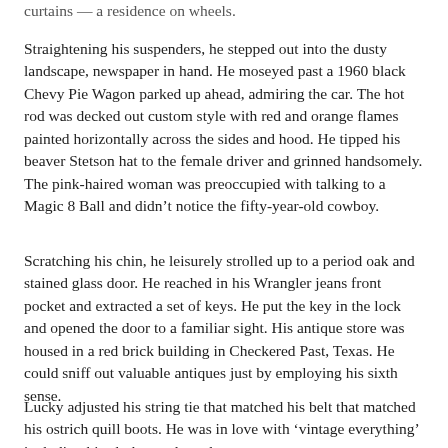curtains — a residence on wheels.
Straightening his suspenders, he stepped out into the dusty landscape, newspaper in hand. He moseyed past a 1960 black Chevy Pie Wagon parked up ahead, admiring the car. The hot rod was decked out custom style with red and orange flames painted horizontally across the sides and hood. He tipped his beaver Stetson hat to the female driver and grinned handsomely. The pink-haired woman was preoccupied with talking to a Magic 8 Ball and didn't notice the fifty-year-old cowboy.
Scratching his chin, he leisurely strolled up to a period oak and stained glass door. He reached in his Wrangler jeans front pocket and extracted a set of keys. He put the key in the lock and opened the door to a familiar sight. His antique store was housed in a red brick building in Checkered Past, Texas. He could sniff out valuable antiques just by employing his sixth sense.
Lucky adjusted his string tie that matched his belt that matched his ostrich quill boots. He was in love with 'vintage everything' including his clothes and gentleman.